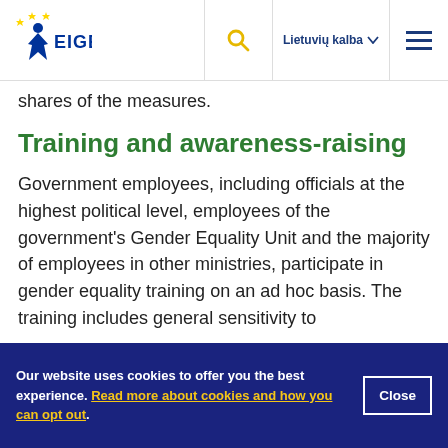EIGE | Lietuvių kalba
shares of the measures.
Training and awareness-raising
Government employees, including officials at the highest political level, employees of the government's Gender Equality Unit and the majority of employees in other ministries, participate in gender equality training on an ad hoc basis. The training includes general sensitivity to
Our website uses cookies to offer you the best experience. Read more about cookies and how you can opt out.